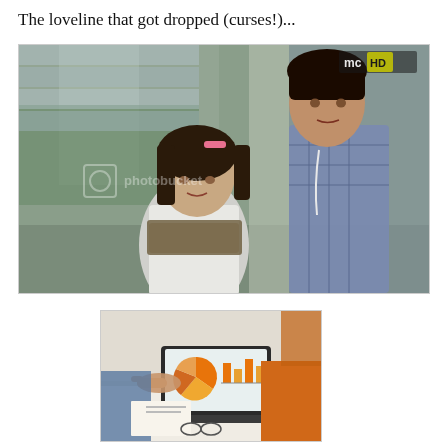The loveline that got dropped (curses!)...
[Figure (photo): Screenshot from a Korean TV drama (MBC HD) showing a young woman with a pink hair clip and a man in a plaid shirt, both looking to the side. A Photobucket watermark is visible on the image.]
[Figure (photo): Photo of people around a table with a laptop showing charts and graphs on its screen. One person is pointing at the laptop screen showing a pie chart and bar chart. People appear to be in a business meeting.]